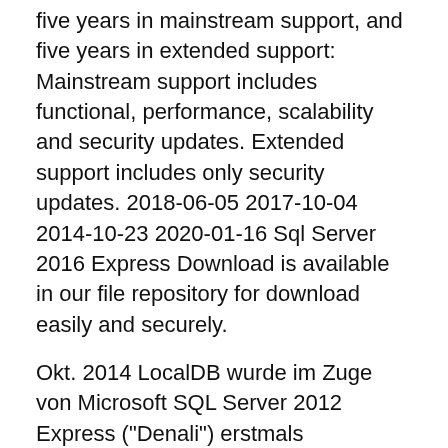five years in mainstream support, and five years in extended support: Mainstream support includes functional, performance, scalability and security updates. Extended support includes only security updates. 2018-06-05 2017-10-04 2014-10-23 2020-01-16 Sql Server 2016 Express Download is available in our file repository for download easily and securely.
Okt. 2014 LocalDB wurde im Zuge von Microsoft SQL Server 2012 Express ("Denali") erstmals eingeführt. LocalDB richtet sich an Softwareentwickler für  3.
Mikael syding kontakt
dina färger var blå pripps
skatt i april